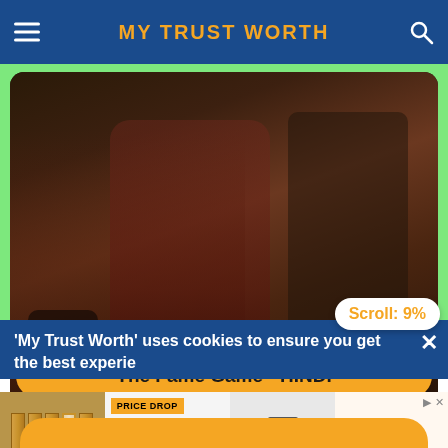MY TRUST WORTH
[Figure (photo): Promotional poster for The Fame Game (Hindi TV/streaming show), showing actors in dramatic poses with the title 'THE FAME GAME' in large white text on a dark background]
The Fame Game - HINDI
Scroll: 9%
'My Trust Worth' uses cookies to ensure you get the best experie
[Figure (screenshot): Advertisement banner showing a price drop on a pink bucket item (Duram brand), framed art panels, a glass jar, and Screening Supplies Store.com branding]